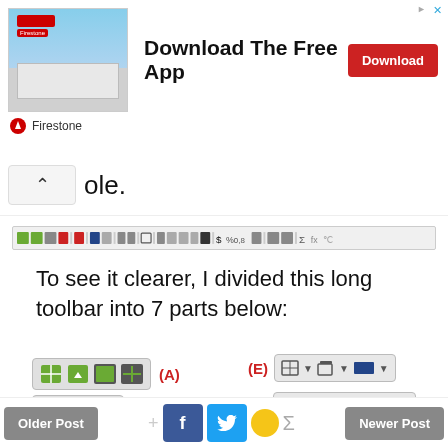[Figure (screenshot): Firestone app advertisement banner with store photo, Download The Free App headline, Download button, and Firestone brand logo]
ole.
[Figure (screenshot): Long spreadsheet/document toolbar screenshot]
To see it clearer, I divided this long toolbar into 7 parts below:
[Figure (screenshot): Toolbar part (A) showing 4 green/dark table-related icon buttons]
[Figure (screenshot): Toolbar part (E) showing table border and monitor icon buttons with dropdown arrows]
[Figure (screenshot): Toolbar part (B) showing 3 red/striped table icon buttons]
[Figure (screenshot): Toolbar part (F) showing $ % 0.0 calculator and other formatting buttons]
Older Post   f  [twitter]  Newer Post